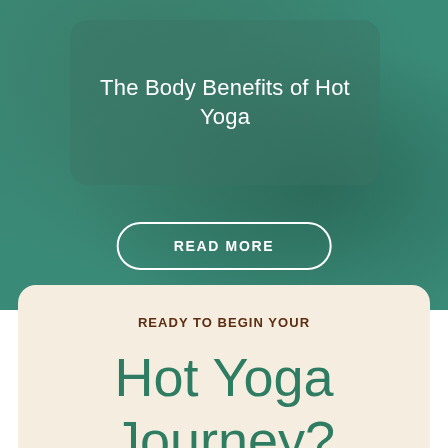[Figure (screenshot): Blurred teal/green background with a semi-transparent rounded card overlay]
The Body Benefits of Hot Yoga
READ MORE
READY TO BEGIN YOUR
Hot Yoga Journey?